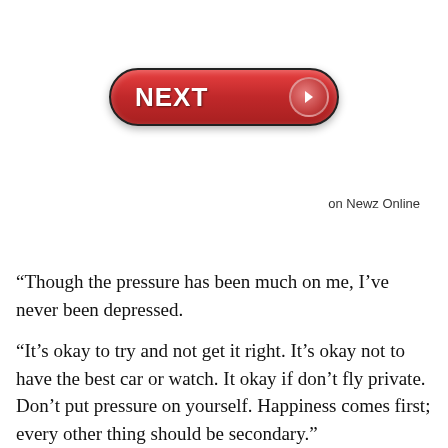[Figure (other): A red pill-shaped NEXT button with white bold text 'NEXT' and a circular arrow icon on the right side]
on Newz Online
“Though the pressure has been much on me, I’ve never been depressed.
“It’s okay to try and not get it right. It’s okay not to have the best car or watch. It okay if don’t fly private. Don’t put pressure on yourself. Happiness comes first; every other thing should be secondary.”